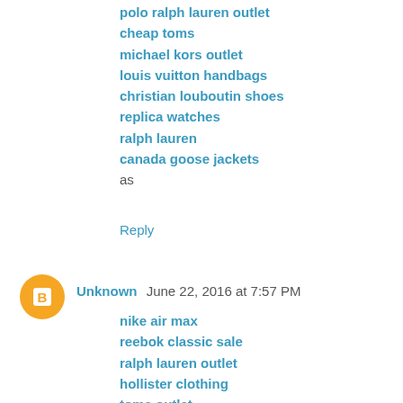polo ralph lauren outlet
cheap toms
michael kors outlet
louis vuitton handbags
christian louboutin shoes
replica watches
ralph lauren
canada goose jackets
as
Reply
Unknown   June 22, 2016 at 7:57 PM
nike air max
reebok classic sale
ralph lauren outlet
hollister clothing
toms outlet
bottega veneta handbags
ray-ban sunglasses
ray bans
oakley sunglasses